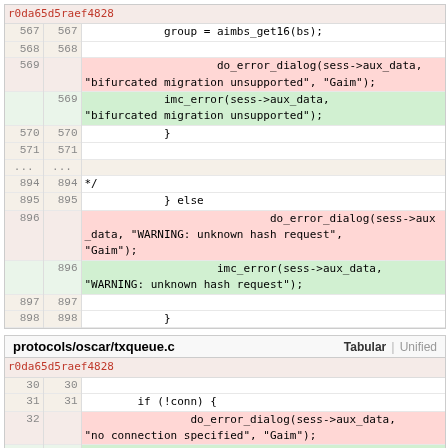| old | new | code |
| --- | --- | --- |
|  |  | r0da65d5raef4828 |
| 567 | 567 | group = aimbs_get16(bs); |
| 568 | 568 |  |
| 569 |  | do_error_dialog(sess->aux_data, "bifurcated migration unsupported", "Gaim"); |
|  | 569 | imc_error(sess->aux_data, "bifurcated migration unsupported"); |
| 570 | 570 | } |
| 571 | 571 |  |
| ... | ... |  |
| 894 | 894 | */ |
| 895 | 895 | } else |
| 896 |  | do_error_dialog(sess->aux_data, "WARNING: unknown hash request", "Gaim"); |
|  | 896 | imc_error(sess->aux_data, "WARNING: unknown hash request"); |
| 897 | 897 |  |
| 898 | 898 | } |
| filename | Tabular | Unified |
| --- | --- | --- |
| protocols/oscar/txqueue.c | Tabular | Unified |
|  |  | r0da65d5raef4828 |
| 30 | 30 |  |
| 31 | 31 | if (!conn) { |
| 32 |  | do_error_dialog(sess->aux_data, "no connection specified", "Gaim"); |
|  | 32 | imc_error(sess->aux_data, "no connection specified"); |
| 33 | 33 | return NULL; |
| 34 | 34 | } |
| ... | ... |  |